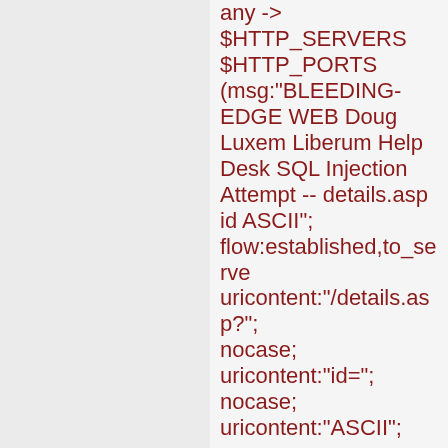any -> $HTTP_SERVERS $HTTP_PORTS (msg:"BLEEDING-EDGE WEB Doug Luxem Liberum Help Desk SQL Injection Attempt -- details.asp id ASCII"; flow:established,to_server; uricontent:"/details.asp?"; nocase; uricontent:"id="; nocase; uricontent:"ASCII"; nocase; pcre:"/.+ASCII\(.+SELECT/Ui"; classtype:web-application-attack; reference:cve,CVE-2006-6160; reference:url,www.milw0r